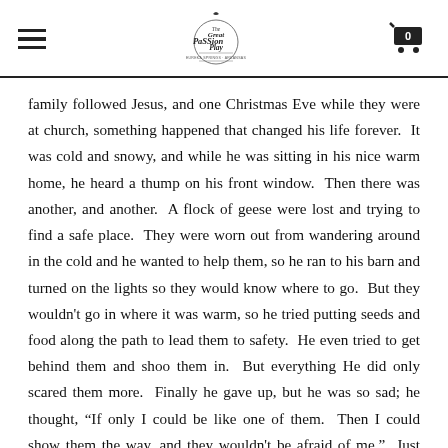[Navigation header with hamburger menu, Great Passion Play logo, and cart icon]
family followed Jesus, and one Christmas Eve while they were at church, something happened that changed his life forever.  It was cold and snowy, and while he was sitting in his nice warm home, he heard a thump on his front window.  Then there was another, and another.  A flock of geese were lost and trying to find a safe place.  They were worn out from wandering around in the cold and he wanted to help them, so he ran to his barn and turned on the lights so they would know where to go.  But they wouldn't go in where it was warm, so he tried putting seeds and food along the path to lead them to safety.  He even tried to get behind them and shoo them in.  But everything He did only scared them more.  Finally he gave up, but he was so sad; he thought, “If only I could be like one of them.  Then I could show them the way, and they wouldn't be afraid of me.”  Just then he heard the church